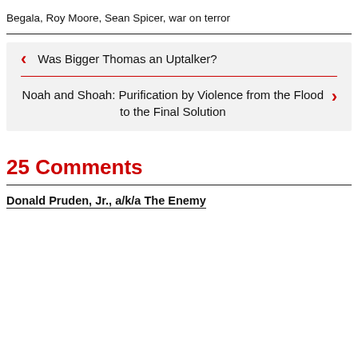Begala, Roy Moore, Sean Spicer, war on terror
Was Bigger Thomas an Uptalker?
Noah and Shoah: Purification by Violence from the Flood to the Final Solution
25 Comments
Donald Pruden, Jr., a/k/a The Enemy